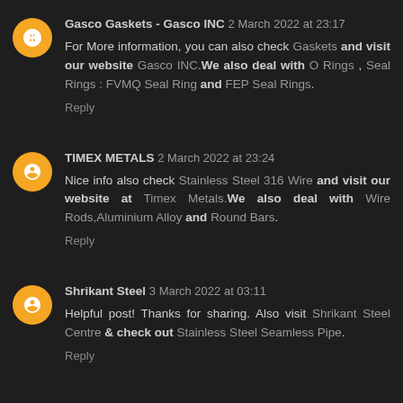Gasco Gaskets - Gasco INC 2 March 2022 at 23:17
For More information, you can also check Gaskets and visit our website Gasco INC.We also deal with O Rings , Seal Rings : FVMQ Seal Ring and FEP Seal Rings.
Reply
TIMEX METALS 2 March 2022 at 23:24
Nice info also check Stainless Steel 316 Wire and visit our website at Timex Metals.We also deal with Wire Rods,Aluminium Alloy and Round Bars.
Reply
Shrikant Steel 3 March 2022 at 03:11
Helpful post! Thanks for sharing. Also visit Shrikant Steel Centre & check out Stainless Steel Seamless Pipe.
Reply